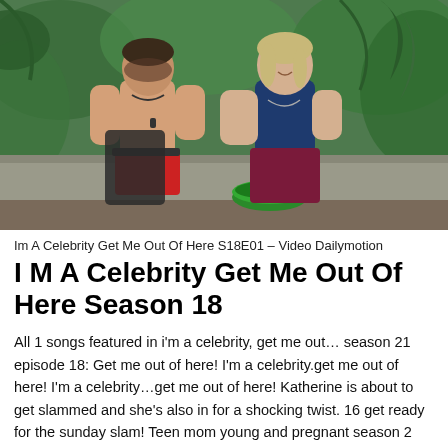[Figure (photo): Two people in a jungle/camp setting. A shirtless man in red shorts holding a dark bag on the left, and a woman in a dark navy top and maroon pants standing near a green bowl on the right. Tropical plants in background.]
Im A Celebrity Get Me Out Of Here S18E01 – Video Dailymotion
I M A Celebrity Get Me Out Of Here Season 18
All 1 songs featured in i'm a celebrity, get me out… season 21 episode 18: Get me out of here! I'm a celebrity.get me out of here! I'm a celebrity…get me out of here! Katherine is about to get slammed and she's also in for a shocking twist. 16 get ready for the sunday slam! Teen mom young and pregnant season 2 episode 9 s02e09 dec 10 2018, i'm a celebrity get me out of here season 18 episode 18 s18e18 dec 5 2018, modern family season 10 episode